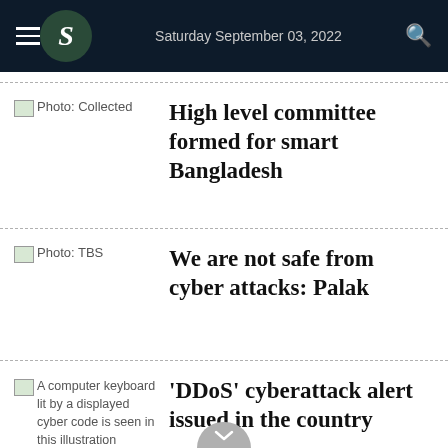Saturday September 03, 2022
[Figure (photo): Photo: Collected — thumbnail image placeholder]
High level committee formed for smart Bangladesh
[Figure (photo): Photo: TBS — thumbnail image placeholder]
We are not safe from cyber attacks: Palak
[Figure (photo): A computer keyboard lit by a displayed cyber code is seen in this illustration]
'DDoS' cyberattack alert issued in the country